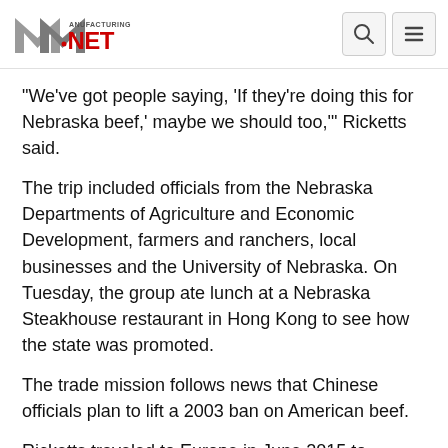Manufacturing.net
"We've got people saying, 'If they're doing this for Nebraska beef,' maybe we should too,'" Ricketts said.
The trip included officials from the Nebraska Departments of Agriculture and Economic Development, farmers and ranchers, local businesses and the University of Nebraska. On Tuesday, the group ate lunch at a Nebraska Steakhouse restaurant in Hong Kong to see how the state was promoted.
The trade mission follows news that Chinese officials plan to lift a 2003 ban on American beef.
Ricketts traveled to Europe in June 2015 to